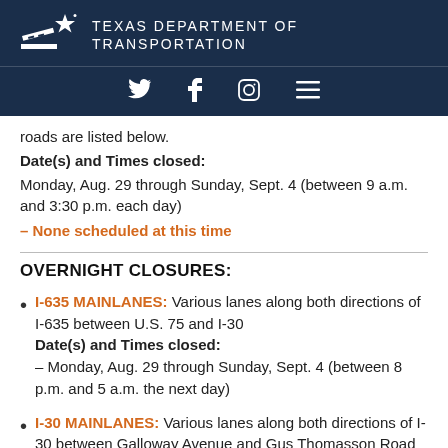[Figure (logo): Texas Department of Transportation logo with star and highway symbol, white on navy background, with text TEXAS DEPARTMENT OF TRANSPORTATION]
[Figure (infographic): Navigation icons: Twitter bird, Facebook f, Instagram camera, hamburger menu — white on navy background]
roads are listed below.
Date(s) and Times closed:
Monday, Aug. 29 through Sunday, Sept. 4 (between 9 a.m. and 3:30 p.m. each day)
– None scheduled at this time
OVERNIGHT CLOSURES:
I-635 MAINLANES: Various lanes along both directions of I-635 between U.S. 75 and I-30 Date(s) and Times closed: – Monday, Aug. 29 through Sunday, Sept. 4 (between 8 p.m. and 5 a.m. the next day)
I-30 MAINLANES: Various lanes along both directions of I-30 between Galloway Avenue and Gus Thomasson Road Date(s) and Times closed: